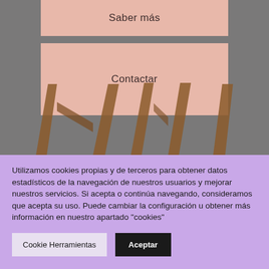[Figure (illustration): Website screenshot showing two pink buttons labeled 'Saber más' and 'Contactar' overlaid on a gray background with mid-century modern table legs visible below]
Utilizamos cookies propias y de terceros para obtener datos estadísticos de la navegación de nuestros usuarios y mejorar nuestros servicios. Si acepta o continúa navegando, consideramos que acepta su uso. Puede cambiar la configuración u obtener más información en nuestro apartado "cookies"
Cookie Herramientas
Aceptar